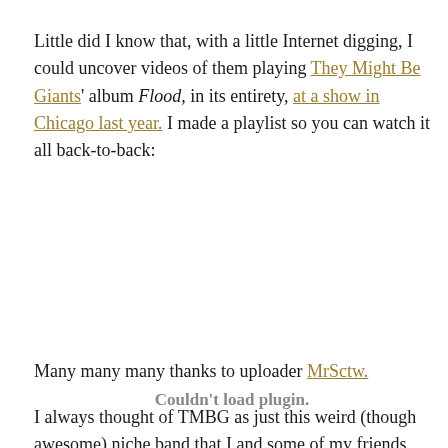Little did I know that, with a little Internet digging, I could uncover videos of them playing They Might Be Giants' album Flood, in its entirety, at a show in Chicago last year. I made a playlist so you can watch it all back-to-back:
[Figure (other): Embedded video plugin area showing 'Couldn't load plugin.' message]
Many many many thanks to uploader MrSctw.
I always thought of TMBG as just this weird (though awesome) niche band that I and some of my friends were in to, so it's very